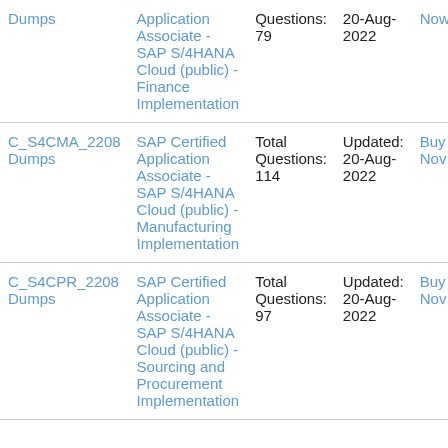| Exam | Description | Questions | Updated | Action |
| --- | --- | --- | --- | --- |
| C_S4FIN_2208 Dumps | SAP Certified Application Associate - SAP S/4HANA Cloud (public) - Finance Implementation | Total Questions: 79 | Updated: 20-Aug-2022 | Buy Now |
| C_S4CMA_2208 Dumps | SAP Certified Application Associate - SAP S/4HANA Cloud (public) - Manufacturing Implementation | Total Questions: 114 | Updated: 20-Aug-2022 | Buy Now |
| C_S4CPR_2208 Dumps | SAP Certified Application Associate - SAP S/4HANA Cloud (public) - Sourcing and Procurement Implementation | Total Questions: 97 | Updated: 20-Aug-2022 | Buy Now |